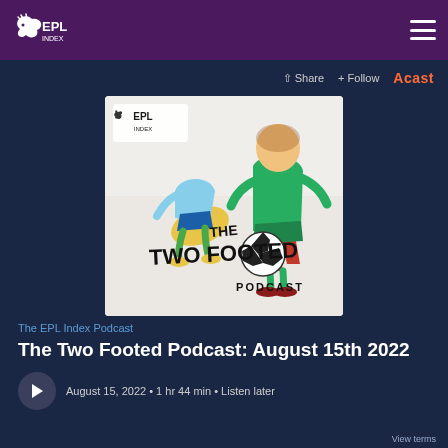EPL Index
Share · Follow · Acast
[Figure (illustration): The Two Footed Podcast cover art showing two animated soccer players in a sliding tackle with a football, EPL Index logo in top left, text 'The Two Footed Podcast' in graffiti style lettering]
The EPL Index Podcast
The Two Footed Podcast: August 15th 2022
August 15, 2022 • 1 hr 44 min • Listen later
View terms